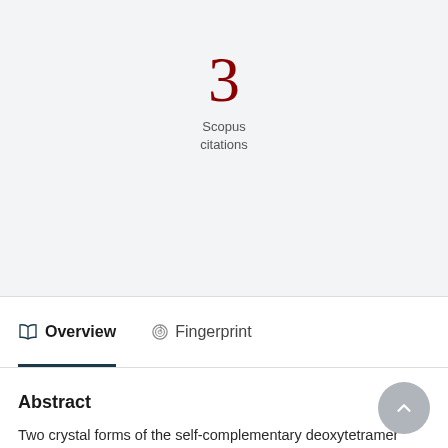3
Scopus
citations
Overview
Fingerprint
Abstract
Two crystal forms of the self-complementary deoxytetramer